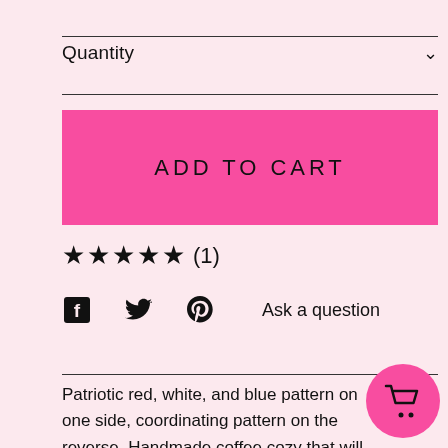Quantity
[Figure (screenshot): ADD TO CART button in hot pink]
★★★★★ (1)
[Figure (infographic): Social share icons: Facebook, Twitter, Pinterest, and Ask a question link]
Patriotic red, white, and blue pattern on one side, coordinating pattern on the reverse. Handmade coffee cozy that will keep your iced coffee from leaving puddles and keep hot drinks warm longer!